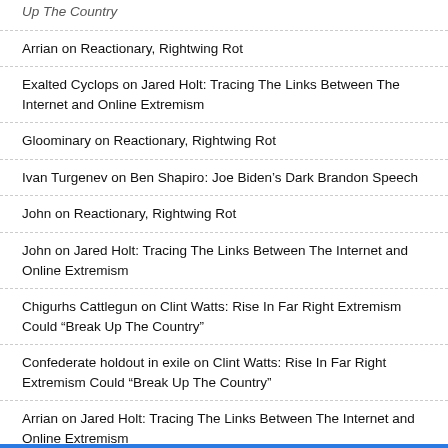Up The Country
Arrian on Reactionary, Rightwing Rot
Exalted Cyclops on Jared Holt: Tracing The Links Between The Internet and Online Extremism
Gloominary on Reactionary, Rightwing Rot
Ivan Turgenev on Ben Shapiro: Joe Biden’s Dark Brandon Speech
John on Reactionary, Rightwing Rot
John on Jared Holt: Tracing The Links Between The Internet and Online Extremism
Chigurhs Cattlegun on Clint Watts: Rise In Far Right Extremism Could “Break Up The Country”
Confederate holdout in exile on Clint Watts: Rise In Far Right Extremism Could “Break Up The Country”
Arrian on Jared Holt: Tracing The Links Between The Internet and Online Extremism